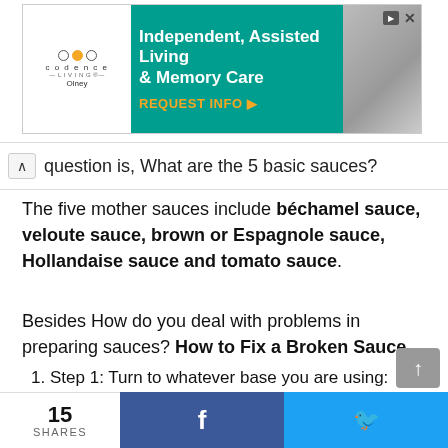[Figure (other): Advertisement for Codence Living (Independent, Assisted Living & Memory Care) with teal background, logo on left, text in center, and photo on right. REQUEST INFO button in orange.]
question is, What are the 5 basic sauces?
The five mother sauces include béchamel sauce, veloute sauce, brown or Espagnole sauce, Hollandaise sauce and tomato sauce.
Besides How do you deal with problems in preparing sauces? How to Fix a Broken Sauce
Step 1: Turn to whatever base you are using: Common liquids include vinegar, wine, and even water. …
15 SHARES | f | 🐦